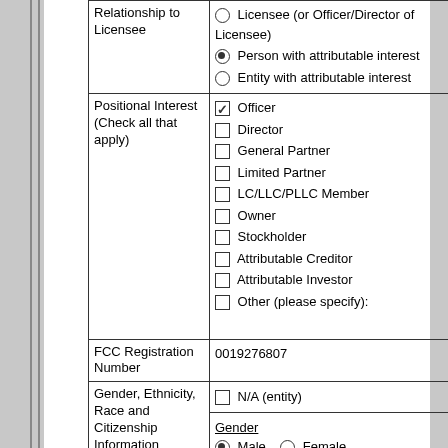| Field | Value |
| --- | --- |
| Relationship to Licensee | ○ Licensee (or Officer/Director of Licensee)
● Person with attributable interest
○ Entity with attributable interest |
| Positional Interest (Check all that apply) | ☑ Officer
☐ Director
☐ General Partner
☐ Limited Partner
☐ LC/LLC/PLLC Member
☐ Owner
☐ Stockholder
☐ Attributable Creditor
☐ Attributable Investor
☐ Other (please specify): |
| FCC Registration Number | 0019276807 |
| Gender, Ethnicity, Race and Citizenship Information | ☐ N/A (entity)
Gender
● Male ○ Female
Ethnicity |